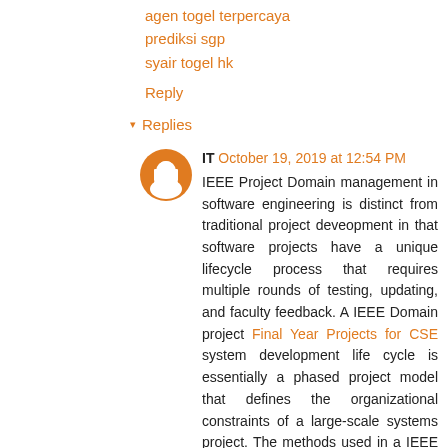agen togel terpercaya
prediksi sgp
syair togel hk
Reply
▾ Replies
IT  October 19, 2019 at 12:54 PM
IEEE Project Domain management in software engineering is distinct from traditional project deveopment in that software projects have a unique lifecycle process that requires multiple rounds of testing, updating, and faculty feedback. A IEEE Domain project Final Year Projects for CSE system development life cycle is essentially a phased project model that defines the organizational constraints of a large-scale systems project. The methods used in a IEEE DOmain Project systems development life cycle strategy Project Centers in Chennai For CSE provide clearly defined phases of work to plan, design, test, deploy, and maintain